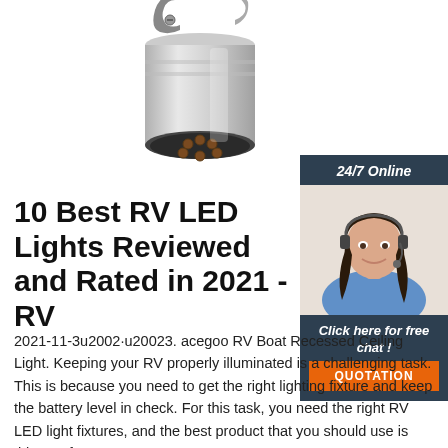[Figure (photo): Metal RV trailer connector plug, silver/chrome, viewed from the end showing circular pin arrangement, with a hook latch on top]
[Figure (photo): Chat support widget: dark navy background, '24/7 Online' text, photo of smiling woman with headset, 'Click here for free chat!' text, orange QUOTATION button]
10 Best RV LED Lights Reviewed and Rated in 2021 - RV
2021-11-3u2002·u20023. acegoo RV Boat Recessed Ceiling Light. Keeping your RV properly illuminated is a challenging task. This is because you need to get the right lighting fixture and keep the battery level in check. For this task, you need the right RV LED light fixtures, and the best product that you should use is this one from acegoo.